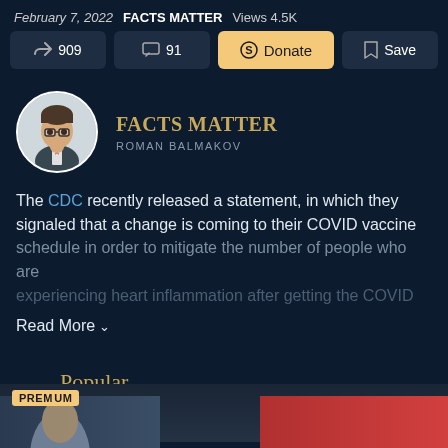February 7, 2022   FACTS MATTER   Views 4.5K
909   91   Donate   Save
[Figure (illustration): Circular avatar photo of Roman Balmakov, a man with glasses in a suit]
FACTS MATTER
ROMAN BALMAKOV
The CDC recently released a statement, in which they signaled that a change is coming to their COVID vaccine schedule in order to mitigate the number of people who are experiencing heart inflammation after getting the COVID
Read More ✓
Popular
PREMIUM